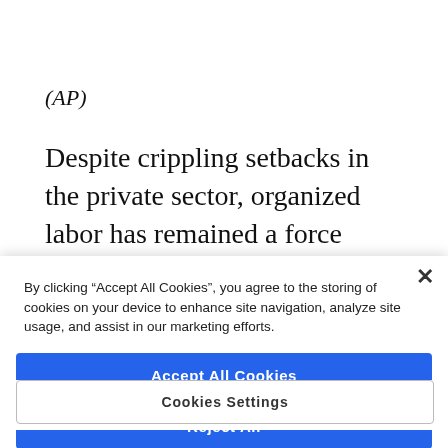(AP)
Despite crippling setbacks in the private sector, organized labor has remained a force among state and local government workers. The U.S.
By clicking “Accept All Cookies”, you agree to the storing of cookies on your device to enhance site navigation, analyze site usage, and assist in our marketing efforts.
Accept All Cookies
Reject All
Cookies Settings